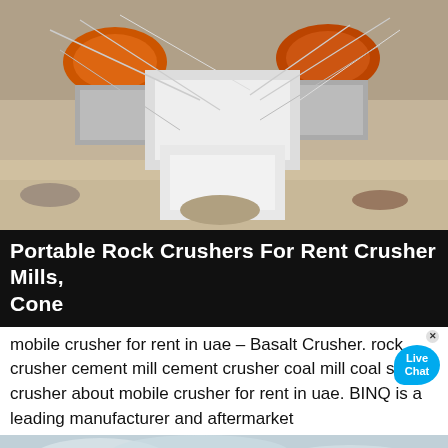[Figure (photo): Industrial rock crusher machinery with two orange motors/drives visible on top, set against a dusty outdoor environment with ropes/cables visible]
Portable Rock Crushers For Rent Crusher Mills, Cone
mobile crusher for rent in uae – Basalt Crusher. rock crusher cement mill cement crusher coal mill coal small crusher about mobile crusher for rent in uae. BINQ is a leading manufacturer and aftermarket
[Figure (photo): Large blue industrial cone crusher/mill machinery at a quarry or mining site, with conveyor belts, sand piles, and construction structures visible in the background under a cloudy sky]